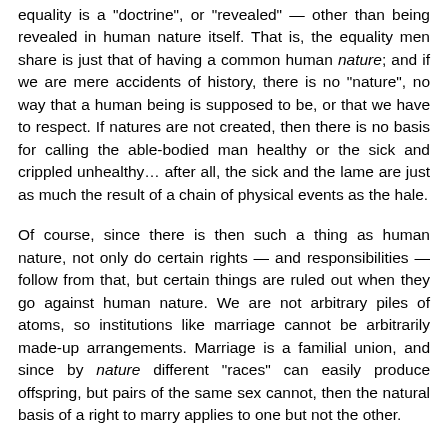equality is a "doctrine", or "revealed" — other than being revealed in human nature itself. That is, the equality men share is just that of having a common human nature; and if we are mere accidents of history, there is no "nature", no way that a human being is supposed to be, or that we have to respect. If natures are not created, then there is no basis for calling the able-bodied man healthy or the sick and crippled unhealthy… after all, the sick and the lame are just as much the result of a chain of physical events as the hale.
Of course, since there is then such a thing as human nature, not only do certain rights — and responsibilities — follow from that, but certain things are ruled out when they go against human nature. We are not arbitrary piles of atoms, so institutions like marriage cannot be arbitrarily made-up arrangements. Marriage is a familial union, and since by nature different "races" can easily produce offspring, but pairs of the same sex cannot, then the natural basis of a right to marry applies to one but not the other.
(As for Stalin, the existence of morals, and living up to them are two different things. Because human nature includes...